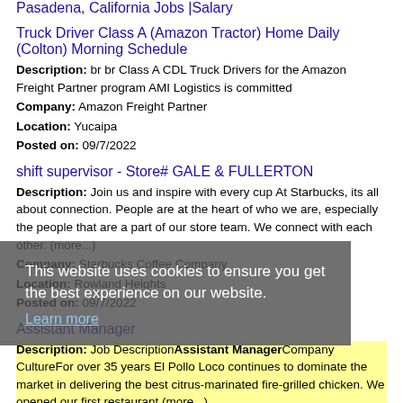Pasadena, California Jobs |Salary
Truck Driver Class A (Amazon Tractor) Home Daily (Colton) Morning Schedule
Description: br br Class A CDL Truck Drivers for the Amazon Freight Partner program AMI Logistics is committed
Company: Amazon Freight Partner
Location: Yucaipa
Posted on: 09/7/2022
shift supervisor - Store# GALE & FULLERTON
Description: Join us and inspire with every cup At Starbucks, its all about connection. People are at the heart of who we are, especially the people that are a part of our store team. We connect with each other. (more...)
Company: Starbucks Coffee Company
Location: Rowland Heights
Posted on: 09/7/2022
This website uses cookies to ensure you get the best experience on our website. Learn more
Assistant Manager
Description: Job DescriptionAssistant ManagerCompany CultureFor over 35 years El Pollo Loco continues to dominate the market in delivering the best citrus-marinated fire-grilled chicken. We opened our first restaurant (more...)